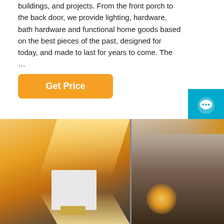buildings, and projects. From the front porch to the back door, we provide lighting, hardware, bath hardware and functional home goods based on the best pieces of the past, designed for today, and made to last for years to come. The …
[Figure (other): Orange 'Get Price' button]
[Figure (other): Cyan 'Free Chat' widget with speech bubble icon in top-right corner]
[Figure (photo): Two side-by-side photos of indoor wall sconce lighting. Left photo shows a white cube-shaped wall lamp casting warm golden light up and down on a gray wall. Right photo shows a warm ambient interior scene with glowing decorative lights.]